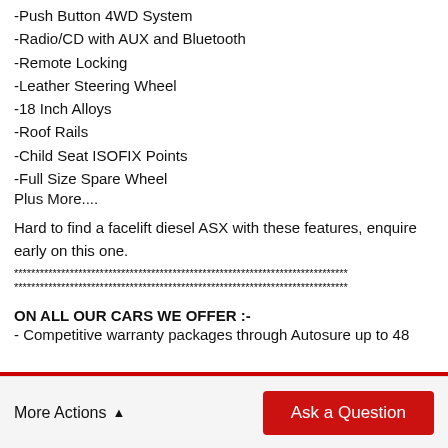-Push Button 4WD System
-Radio/CD with AUX and Bluetooth
-Remote Locking
-Leather Steering Wheel
-18 Inch Alloys
-Roof Rails
-Child Seat ISOFIX Points
-Full Size Spare Wheel
Plus More....
Hard to find a facelift diesel ASX with these features, enquire early on this one.
******************************************************************************
******************************************************************************
ON ALL OUR CARS WE OFFER :-
- Competitive warranty packages through Autosure up to 48
More Actions ▲
Ask a Question